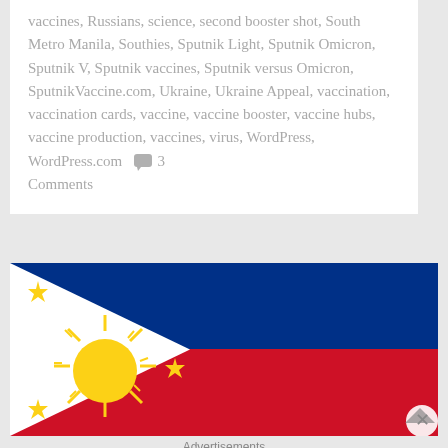vaccines, Russians, science, second booster shot, South Metro Manila, Southies, Sputnik Light, Sputnik Omicron, Sputnik V, Sputnik vaccines, Sputnik versus Omicron, SputnikVaccine.com, Ukraine, Ukraine Appeal, vaccination, vaccination cards, vaccine, vaccine booster, vaccine hubs, vaccine production, vaccines, virus, WordPress, WordPress.com 💬 3 Comments
[Figure (illustration): Philippine flag banner advertisement showing the blue top half, white triangle on the left with a yellow sun and three yellow stars, and red bottom stripe.]
Advertisements